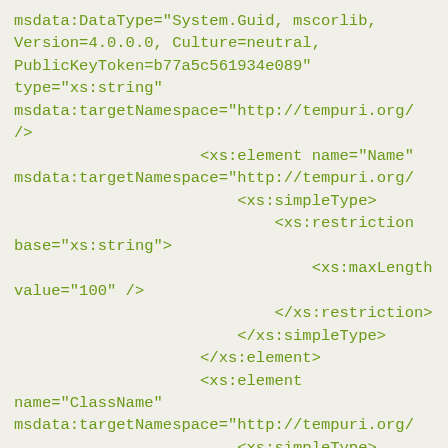msdata:DataType="System.Guid, mscorlib, Version=4.0.0.0, Culture=neutral, PublicKeyToken=b77a5c561934e089" type="xs:string" msdata:targetNamespace="http://tempuri.org/" />
                    <xs:element name="Name" msdata:targetNamespace="http://tempuri.org/"
                        <xs:simpleType>
                            <xs:restriction base="xs:string">
                                <xs:maxLength value="100" />
                            </xs:restriction>
                        </xs:simpleType>
                    </xs:element>
                    <xs:element name="ClassName" msdata:targetNamespace="http://tempuri.org/"
                        <xs:simpleType>
                            <xs:restriction